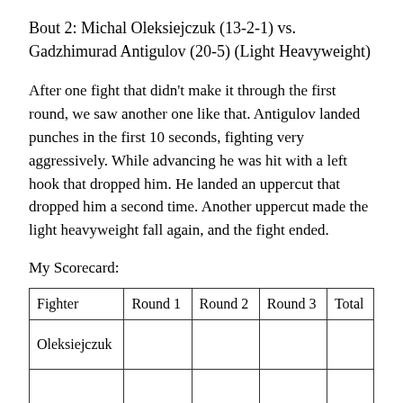Bout 2: Michal Oleksiejczuk (13-2-1) vs. Gadzhimurad Antigulov (20-5) (Light Heavyweight)
After one fight that didn't make it through the first round, we saw another one like that. Antigulov landed punches in the first 10 seconds, fighting very aggressively. While advancing he was hit with a left hook that dropped him. He landed an uppercut that dropped him a second time. Another uppercut made the light heavyweight fall again, and the fight ended.
My Scorecard:
| Fighter | Round 1 | Round 2 | Round 3 | Total |
| --- | --- | --- | --- | --- |
| Oleksiejczuk |  |  |  |  |
|  |  |  |  |  |